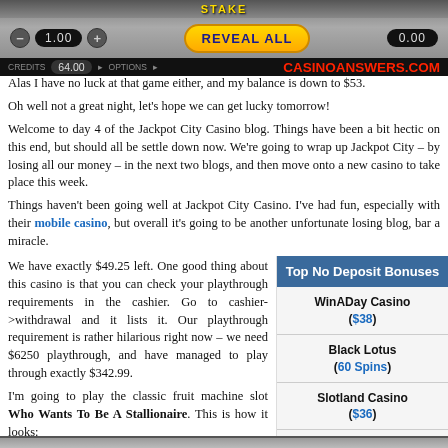[Figure (screenshot): Casino game interface showing stake controls (1.00), Reveal All button in gold, win display (0.00), credits display (64.00), and CASINOANSWERS.COM branding in red]
Alas I have no luck at that game either, and my balance is down to $53.
Oh well not a great night, let's hope we can get lucky tomorrow!
Welcome to day 4 of the Jackpot City Casino blog. Things have been a bit hectic on this end, but should all be settle down now. We're going to wrap up Jackpot City – by losing all our money – in the next two blogs, and then move onto a new casino to take place this week.
Things haven't been going well at Jackpot City Casino. I've had fun, especially with their mobile casino, but overall it's going to be another unfortunate losing blog, bar a miracle.
We have exactly $49.25 left. One good thing about this casino is that you can check your playthrough requirements in the cashier. Go to cashier->withdrawal and it lists it. Our playthrough requirement is rather hilarious right now – we need $6250 playthrough, and have managed to play through exactly $342.99.
Top No Deposit Bonuses
WinADay Casino ($38)
Black Lotus (60 Spins)
Slotland Casino ($36)
I'm going to play the classic fruit machine slot Who Wants To Be A Stallionaire. This is how it looks:
[Figure (screenshot): Bottom edge of another casino slot game screenshot]